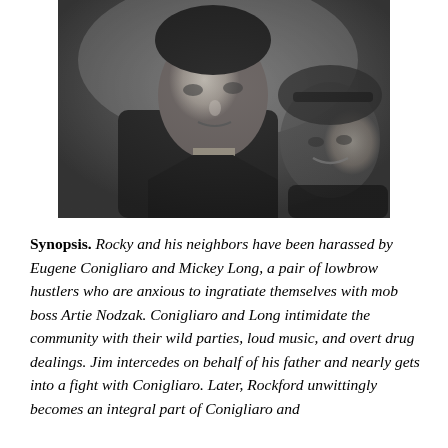[Figure (photo): Black and white photograph of two men outdoors. The man in the foreground is looking upward, wearing a dark jacket. A second man is visible in the background, slightly out of focus, smiling and wearing a cap.]
Synopsis. Rocky and his neighbors have been harassed by Eugene Conigliaro and Mickey Long, a pair of lowbrow hustlers who are anxious to ingratiate themselves with mob boss Artie Nodzak. Conigliaro and Long intimidate the community with their wild parties, loud music, and overt drug dealings. Jim intercedes on behalf of his father and nearly gets into a fight with Conigliaro. Later, Rockford unwittingly becomes an integral part of Conigliaro and